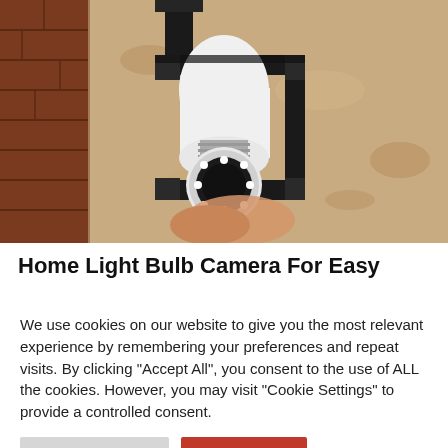[Figure (photo): A hand installing a light bulb security camera into an outdoor wall lantern fixture mounted on a rough textured stucco wall. The camera is white and round with LED lights around the lens.]
Home Light Bulb Camera For Easy
We use cookies on our website to give you the most relevant experience by remembering your preferences and repeat visits. By clicking "Accept All", you consent to the use of ALL the cookies. However, you may visit "Cookie Settings" to provide a controlled consent.
Cookie Settings
Accept All